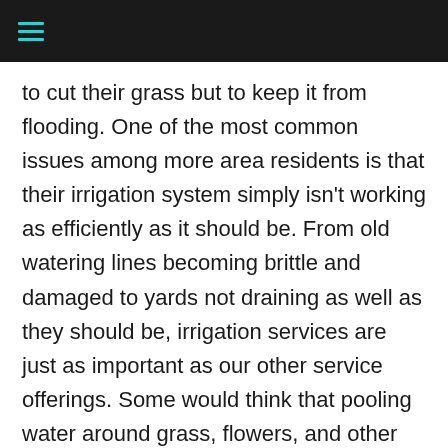≡
to cut their grass but to keep it from flooding. One of the most common issues among more area residents is that their irrigation system simply isn't working as efficiently as it should be. From old watering lines becoming brittle and damaged to yards not draining as well as they should be, irrigation services are just as important as our other service offerings. Some would think that pooling water around grass, flowers, and other plants is a good thing. However, too much water can stunt plants' growth, cause mold and mildew growth, and ultimately wind up drowning your plants. If your